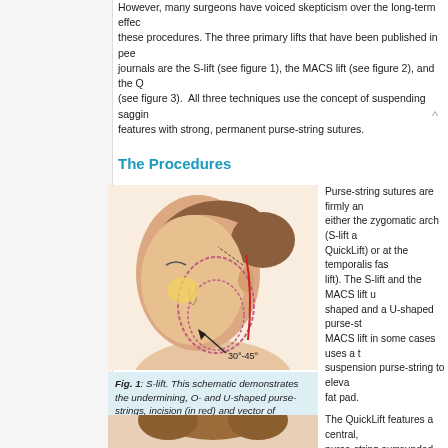However, many surgeons have voiced skepticism over the long-term effects of these procedures. The three primary lifts that have been published in peer-reviewed journals are the S-lift (see figure 1), the MACS lift (see figure 2), and the QuickLift (see figure 3). All three techniques use the concept of suspending sagging facial features with strong, permanent purse-string sutures.
The Procedures
[Figure (illustration): Medical illustration of S-lift procedure showing a side profile of a woman's head with annotations indicating O- and U-shaped purse-strings, incision in red, and vector of advancement at 30-45 degrees.]
Fig. 1: S-lift. This schematic demonstrates the undermining, O- and U-shaped purse-strings, incision (in red) and vector of advancement.
Purse-string sutures are firmly anchored to either the zygomatic arch (S-lift and QuickLift) or at the temporalis fascia (MACS lift). The S-lift and the MACS lift use an O-shaped and a U-shaped purse-string. The MACS lift in some cases uses a third suspension purse-string to elevate the malar fat pad.

The QuickLift features a central, oval purse-string surrounded by an expansive, large encircling purse-string. When the purse-string suspension sutures are tightened, the SMAS is compressed, forming multiple folds, which then fibrose and give longer lasting to the procedure. In addition, as the purse-string is tightened, there is a pulley-type effect that strengthens the suspension with each additional throw of the suture and significantly reduces the chances of tear-through.
[Figure (photo): Partial view of a woman's head from above, showing hair in an updo, beginning of second figure illustration.]